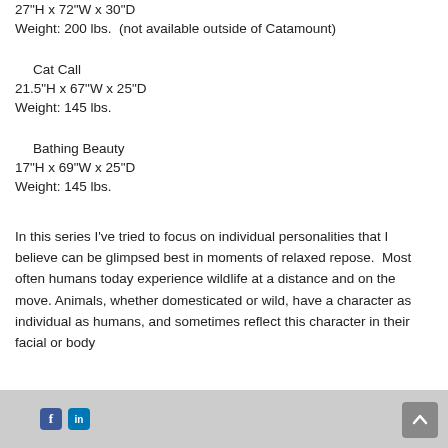27"H x 72"W x 30"D
Weight: 200 lbs.  (not available outside of Catamount)
Cat Call
21.5"H x 67"W x 25"D
Weight: 145 lbs.
Bathing Beauty
17"H x 69"W x 25"D
Weight: 145 lbs.
In this series I've tried to focus on individual personalities that I believe can be glimpsed best in moments of relaxed repose.  Most often humans today experience wildlife at a distance and on the move. Animals, whether domesticated or wild, have a character as individual as humans, and sometimes reflect this character in their facial or body
Footer with social media icons and scroll-to-top button